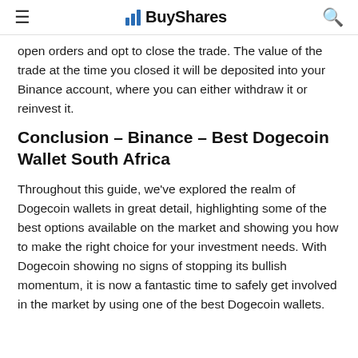BuyShares
open orders and opt to close the trade. The value of the trade at the time you closed it will be deposited into your Binance account, where you can either withdraw it or reinvest it.
Conclusion – Binance – Best Dogecoin Wallet South Africa
Throughout this guide, we've explored the realm of Dogecoin wallets in great detail, highlighting some of the best options available on the market and showing you how to make the right choice for your investment needs. With Dogecoin showing no signs of stopping its bullish momentum, it is now a fantastic time to safely get involved in the market by using one of the best Dogecoin wallets.